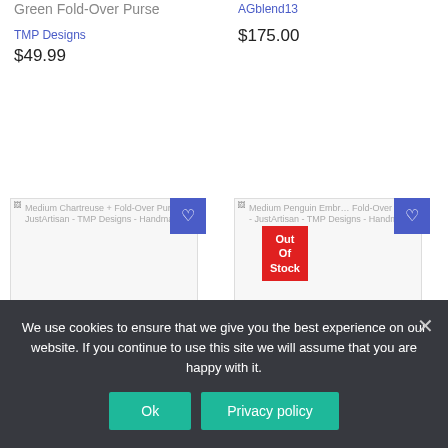Green Fold-Over Purse
AGblend13
TMP Designs
$175.00
$49.99
[Figure (photo): Medium Chartreuse + brown Fold-Over Purse product image with wishlist button]
[Figure (photo): Medium Penguin Embroidery Fold-Over Purse product image with Out Of Stock badge and wishlist button]
Medium Chartreuse + brown Fold-Over Purse
Medium Penguin Embroidery Fold-Over Purse
We use cookies to ensure that we give you the best experience on our website. If you continue to use this site we will assume that you are happy with it.